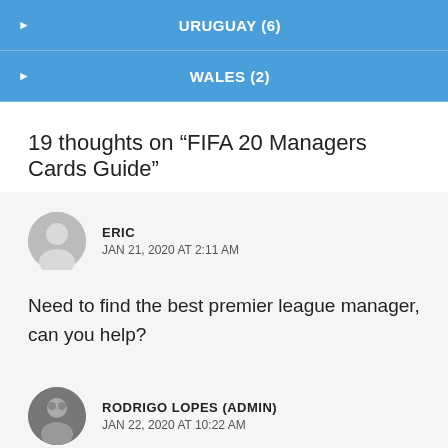URUGUAY (6)
WALES (2)
19 thoughts on “FIFA 20 Managers Cards Guide”
ERIC
JAN 21, 2020 AT 2:11 AM
Need to find the best premier league manager, can you help?
RODRIGO LOPES (ADMIN)
JAN 22, 2020 AT 10:22 AM